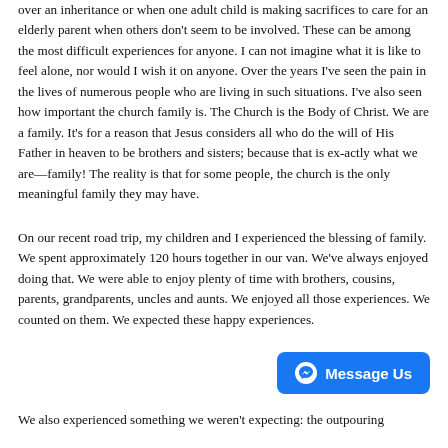over an inheritance or when one adult child is making sacrifices to care for an elderly parent when others don't seem to be involved. These can be among the most difficult experiences for anyone. I can not imagine what it is like to feel alone, nor would I wish it on anyone. Over the years I've seen the pain in the lives of numerous people who are living in such situations. I've also seen how important the church family is. The Church is the Body of Christ. We are a family. It's for a reason that Jesus considers all who do the will of His Father in heaven to be brothers and sisters; because that is ex-actly what we are—family! The reality is that for some people, the church is the only meaningful family they may have.
On our recent road trip, my children and I experienced the blessing of family. We spent approximately 120 hours together in our van. We've always enjoyed doing that. We were able to enjoy plenty of time with brothers, cousins, parents, grandparents, uncles and aunts. We enjoyed all those experiences. We counted on them. We expected these happy experiences.
[Figure (other): Facebook Messenger 'Message Us' button in blue]
We also experienced something we weren't expecting: the outpouring